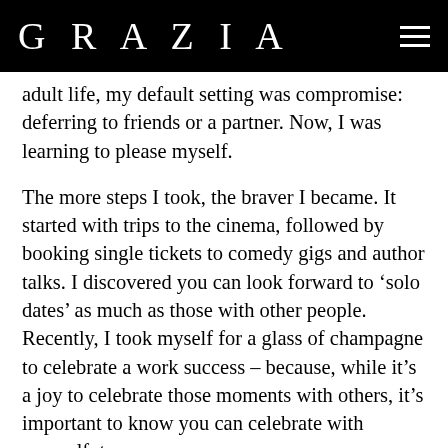GRAZIA
adult life, my default setting was compromise: deferring to friends or a partner. Now, I was learning to please myself.
The more steps I took, the braver I became. It started with trips to the cinema, followed by booking single tickets to comedy gigs and author talks. I discovered you can look forward to ‘solo dates’ as much as those with other people. Recently, I took myself for a glass of champagne to celebrate a work success – because, while it’s a joy to celebrate those moments with others, it’s important to know you can celebrate with yourself, too.